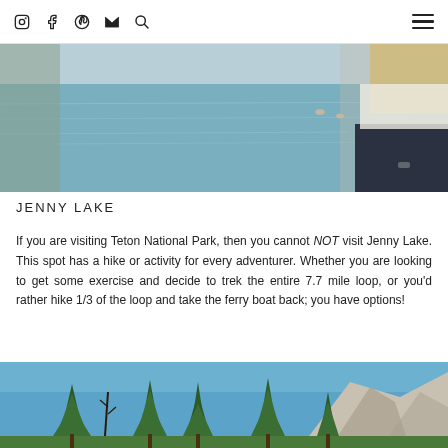Social icons: Instagram, Facebook, Pinterest, Mail, Search | Hamburger menu
[Figure (photo): Top portion of photo showing a person with blonde hair standing near Jenny Lake with water and swimmers visible in the background]
JENNY LAKE
If you are visiting Teton National Park, then you cannot NOT visit Jenny Lake. This spot has a hike or activity for every adventurer. Whether you are looking to get some exercise and decide to trek the entire 7.7 mile loop, or you'd rather hike 1/3 of the loop and take the ferry boat back; you have options!
[Figure (photo): Forest scene with tall pine trees against a bright blue sky, with rocky granite mountains visible in the background at Jenny Lake, Teton National Park]